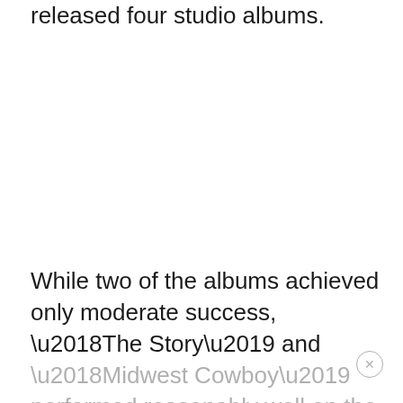released four studio albums.
While two of the albums achieved only moderate success, ‘The Story’ and ‘Midwest Cowboy’ performed reasonably well on the charts. Layzie Bone and